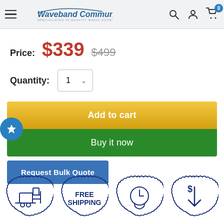Waveband Communications — SPECIALIZING IN QUALITY RADIO ACCESSORIES
Price: $339  $499
Quantity: 1
Add to cart
Buy it now
Request Bulk Quote
[Figure (infographic): Four circular badge icons: forklift/shipping icon, FREE SHIPPING badge, clock/time icon, dollar-down/price icon]